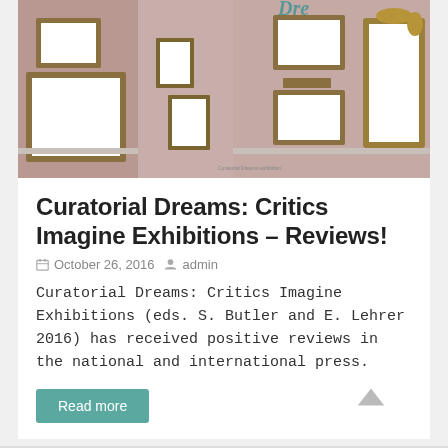[Figure (photo): Interior of an art gallery with empty gold-framed picture frames hanging on dusty rose/mauve walls, with marble floor and text 'Dre' visible near top.]
Curatorial Dreams: Critics Imagine Exhibitions – Reviews!
October 26, 2016   admin
Curatorial Dreams: Critics Imagine Exhibitions (eds. S. Butler and E. Lehrer 2016) has received positive reviews in the national and international press.
Read more